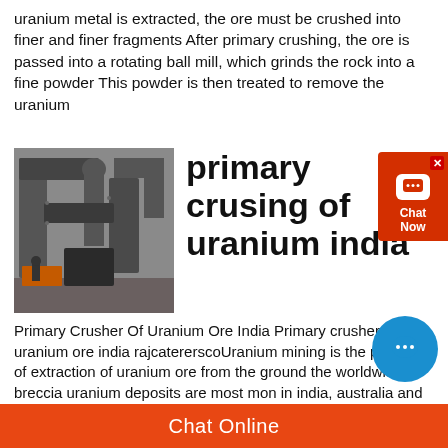uranium metal is extracted, the ore must be crushed into finer and finer fragments After primary crushing, the ore is passed into a rotating ball mill, which grinds the rock into a fine powder This powder is then treated to remove the uranium
[Figure (photo): Industrial machinery — large metal ducts, pipes, and crushing equipment inside a factory or mining facility.]
primary crusing of uranium india
Primary Crusher Of Uranium Ore India Primary crusher of uranium ore india rajcatererscoUranium mining is the process of extraction of uranium ore from the ground the worldwide breccia uranium deposits are most mon in india, australia and the united states olympic dam mine is the the extracted ore will typically be run through a crusher and placed in heaps atop the plastic
Chat Online